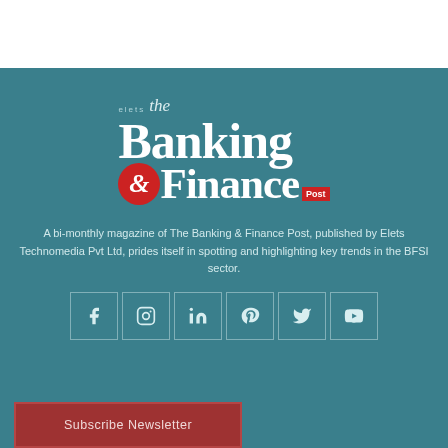[Figure (logo): The Banking & Finance Post logo by Elets Technomedia]
A bi-monthly magazine of The Banking & Finance Post, published by Elets Technomedia Pvt Ltd, prides itself in spotting and highlighting key trends in the BFSI sector.
[Figure (infographic): Social media icons: Facebook, Instagram, LinkedIn, Pinterest, Twitter, YouTube]
Subscribe Newsletter